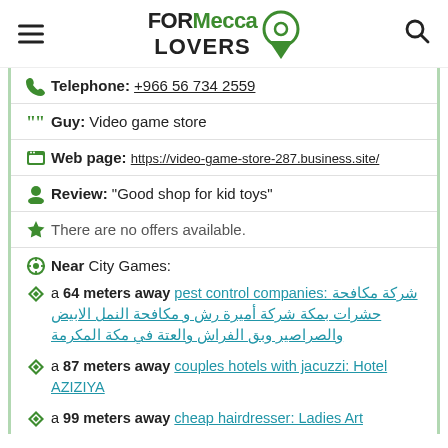FORMecca LOVERS
Telephone: +966 56 734 2559
Guy: Video game store
Web page: https://video-game-store-287.business.site/
Review: "Good shop for kid toys"
There are no offers available.
Near City Games:
a 64 meters away pest control companies: شركة مكافحة حشرات بمكة شركة أميرة رش و مكافحة النمل الابيض والصراصير وبق الفراش والعتة في مكة المكرمة
a 87 meters away couples hotels with jacuzzi: Hotel AZIZIYA
a 99 meters away cheap hairdresser: Ladies Art